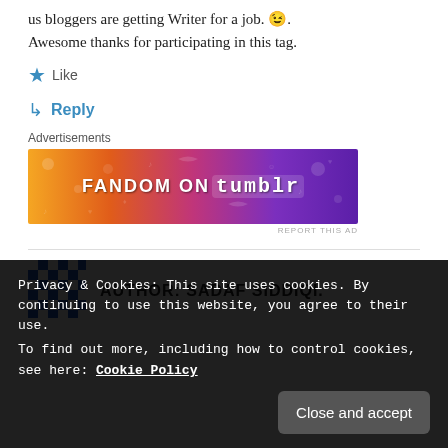us bloggers are getting Writer for a job. 😉. Awesome thanks for participating in this tag.
★ Like
↳ Reply
Advertisements
[Figure (illustration): Fandom on Tumblr advertisement banner with orange to purple gradient background and decorative doodles]
REPORT THIS AD
AUTHOR: SADAF SIDDIQI.
Privacy & Cookies: This site uses cookies. By continuing to use this website, you agree to their use.
To find out more, including how to control cookies, see here: Cookie Policy